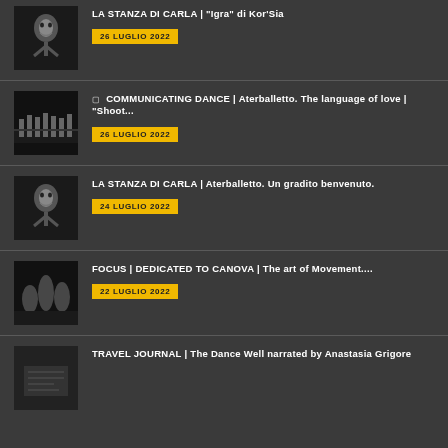LA STANZA DI CARLA | "Igra" di Kor'Sia — 26 LUGLIO 2022
COMMUNICATING DANCE | Aterballetto. The language of love | "Shoot... — 26 LUGLIO 2022
LA STANZA DI CARLA | Aterballetto. Un gradito benvenuto. — 24 LUGLIO 2022
FOCUS | DEDICATED TO CANOVA | The art of Movement.... — 22 LUGLIO 2022
TRAVEL JOURNAL | The Dance Well narrated by Anastasia Grigore